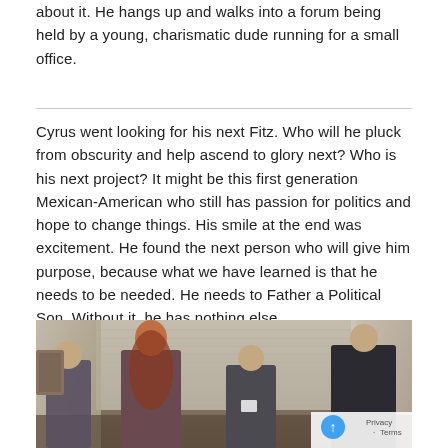about it. He hangs up and walks into a forum being held by a young, charismatic dude running for a small office.
Cyrus went looking for his next Fitz. Who will he pluck from obscurity and help ascend to glory next? Who is his next project? It might be this first generation Mexican-American who still has passion for politics and hope to change things. His smile at the end was excitement. He found the next person who will give him purpose, because what we have learned is that he needs to be needed. He needs to Father a Political Son. Without it, he has nothing else.
[Figure (photo): A scene from a TV show (likely Scandal) showing four people in a room: an older man on the left, a woman with long red hair facing away, a woman with dark hair in the center wearing a badge, and a man in a dark suit on the right with his back to the camera. The room has blinds and curtains in the background.]